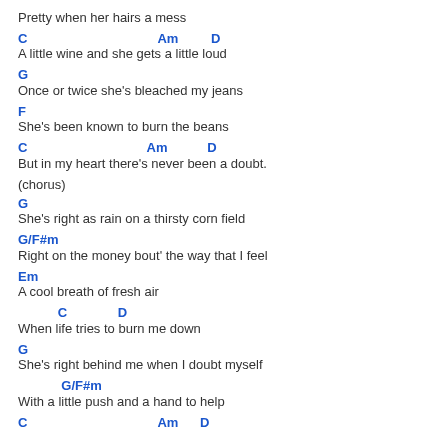Pretty when her hairs a mess
C                                    Am         D
A little wine and she gets a         little loud
G
Once or twice she's bleached my jeans
F
She's been known to burn the beans
C                                 Am           D
But in my heart there's never been a doubt.
(chorus)
G
She's right as rain on a thirsty corn field
G/F#m
Right on the money bout' the way that I feel
Em
A cool breath of fresh air
C              D
When life tries to burn me down
G
She's right behind me when I doubt myself
G/F#m
With a little push and a hand to help
C                                    Am      D